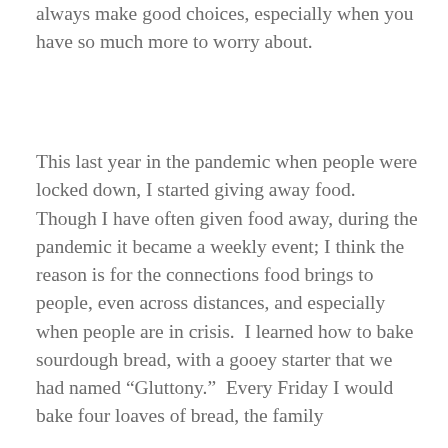always make good choices, especially when you have so much more to worry about.
This last year in the pandemic when people were locked down, I started giving away food.  Though I have often given food away, during the pandemic it became a weekly event; I think the reason is for the connections food brings to people, even across distances, and especially when people are in crisis.  I learned how to bake sourdough bread, with a gooey starter that we had named “Gluttony.”  Every Friday I would bake four loaves of bread, the family